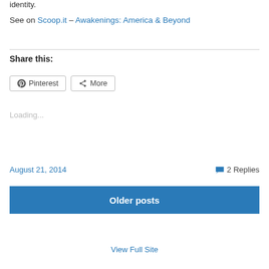identity.
See on Scoop.it – Awakenings: America & Beyond
Share this:
Pinterest   More
Loading...
August 21, 2014
2 Replies
Older posts
View Full Site